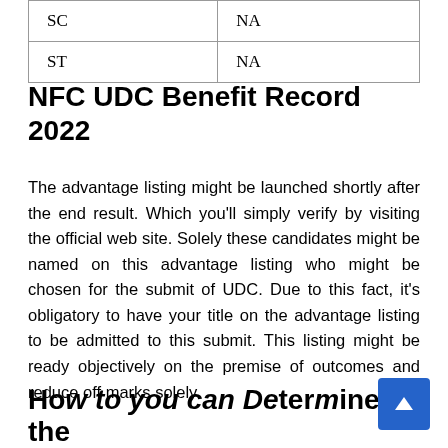| SC | NA |
| ST | NA |
NFC UDC Benefit Record 2022
The advantage listing might be launched shortly after the end result. Which you'll simply verify by visiting the official web site. Solely these candidates might be named on this advantage listing who might be chosen for the submit of UDC. Due to this fact, it's obligatory to have your title on the advantage listing to be admitted to this submit. This listing might be ready objectively on the premise of outcomes and reduce off marks solely.
How to you can Determine the